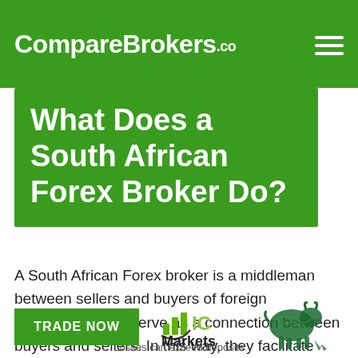CompareBrokers.co
What Does a South African Forex Broker Do?
A South African Forex broker is a middleman between sellers and buyers of foreign currencies. They serve as a connection between buyers and sellers. In this way, they facilitate trillions of pounds in turnover on a daily
[Figure (logo): IC Markets logo with bar chart icon and green bull figure, with a TRADE NOW green button and text 'Losses can exceed deposits']